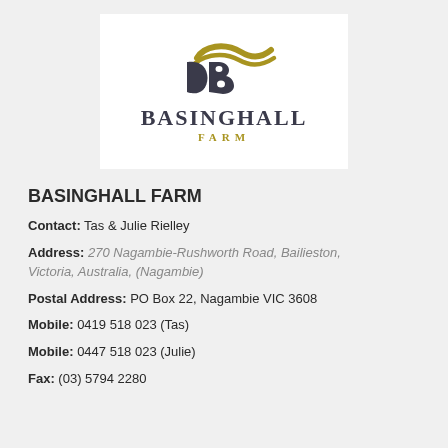[Figure (logo): Basinghall Farm logo with stylized DB monogram in dark grey and gold, with text BASINGHALL in dark serif and FARM in gold spaced letters below]
BASINGHALL FARM
Contact: Tas & Julie Rielley
Address: 270 Nagambie-Rushworth Road, Bailieston, Victoria, Australia, (Nagambie)
Postal Address: PO Box 22, Nagambie VIC 3608
Mobile: 0419 518 023 (Tas)
Mobile: 0447 518 023 (Julie)
Fax: (03) 5794 2280